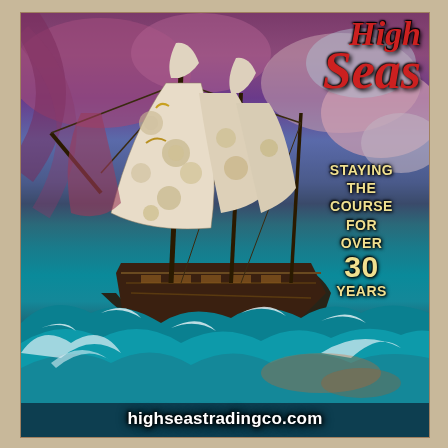[Figure (illustration): Vintage poster illustration of a tall sailing ship with ornate floral-patterned sails navigating stormy seas with large crashing waves. Dramatic purple-red and blue sky with clouds in background. Retro poster art style.]
High Seas
STAYING THE COURSE FOR OVER 30 YEARS
highseastradingco.com